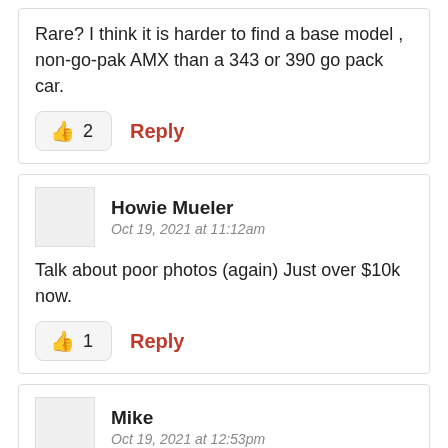Rare? I think it is harder to find a base model , non-go-pak AMX than a 343 or 390 go pack car.
👍 2   Reply
Howie Mueler
Oct 19, 2021 at 11:12am
Talk about poor photos (again) Just over $10k now.
👍 1   Reply
Mike
Oct 19, 2021 at 12:53pm
Back in the early 80's, when this car might go for $400, these high bidders would not have even